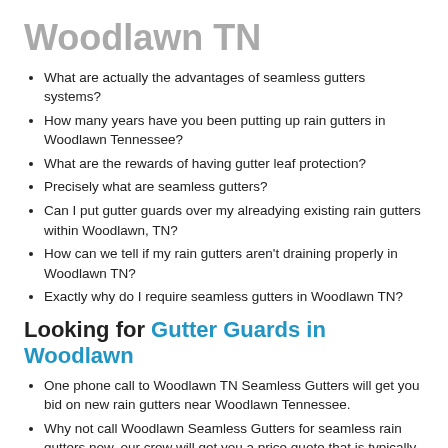Woodlawn TN
What are actually the advantages of seamless gutters systems?
How many years have you been putting up rain gutters in Woodlawn Tennessee?
What are the rewards of having gutter leaf protection?
Precisely what are seamless gutters?
Can I put gutter guards over my alreadying existing rain gutters within Woodlawn, TN?
How can we tell if my rain gutters aren't draining properly in Woodlawn TN?
Exactly why do I require seamless gutters in Woodlawn TN?
Looking for Gutter Guards in Woodlawn
One phone call to Woodlawn TN Seamless Gutters will get you bid on new rain gutters near Woodlawn Tennessee.
Why not call Woodlawn Seamless Gutters for seamless rain gutters now, our crew will get you a price quote that is typically less than our competitors.
You can contact us from our internet site at for seamless rain gutters near Woodlawn Tennessee, or internet for more in